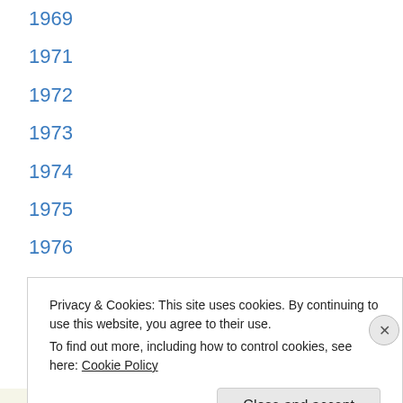1969
1971
1972
1973
1974
1975
1976
1977
1978
1979
1980
1981
1982
Privacy & Cookies: This site uses cookies. By continuing to use this website, you agree to their use.
To find out more, including how to control cookies, see here: Cookie Policy
REDIRECTING.AG